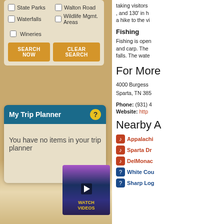State Parks
Walton Road
Waterfalls
Wildlife Mgmt. Areas
Wineries
SEARCH NOW
CLEAR SEARCH
My Trip Planner
You have no items in your trip planner
[Figure (screenshot): Video thumbnail showing misty mountain valley at sunset with WATCH VIDEOS label]
taking visitors , and 130' in h a hike to the vi
Fishing
Fishing is open and carp. The falls. The wate
For More
4000 Burgess Sparta, TN 385
Phone: (931) 4
Website: http
Nearby A
Appalachi
Sparta Dr
DelMonac
White Cou
Sharp Log